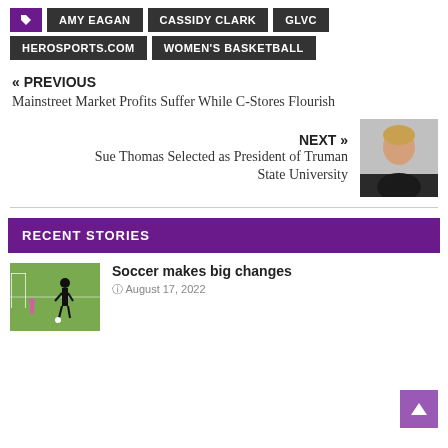AMY EAGAN
CASSIDY CLARK
GLVC
HEROSPORTS.COM
WOMEN'S BASKETBALL
« PREVIOUS
Mainstreet Market Profits Suffer While C-Stores Flourish
NEXT »
Sue Thomas Selected as President of Truman State University
[Figure (photo): Headshot photo of a woman with short blonde hair, smiling, wearing dark clothing]
RECENT STORIES
[Figure (photo): Photo of a soccer player in a black uniform on a green field]
Soccer makes big changes
August 17, 2022